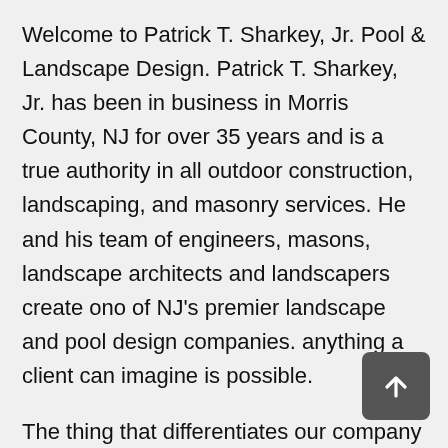Welcome to Patrick T. Sharkey, Jr. Pool & Landscape Design. Patrick T. Sharkey, Jr. has been in business in Morris County, NJ for over 35 years and is a true authority in all outdoor construction, landscaping, and masonry services. He and his team of engineers, masons, landscape architects and landscapers create ono of NJ's premier landscape and pool design companies. anything a client can imagine is possible.
The thing that differentiates our company from others is our level of expertise. Our team has countless years of combined experience and is a pleasure to work with. We will design and